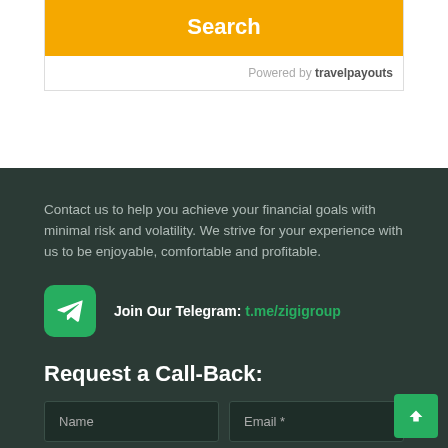[Figure (screenshot): Search button widget with orange background labeled 'Search', with 'Powered by travelpayouts' attribution below]
Contact us to help you achieve your financial goals with minimal risk and volatility. We strive for your experience with us to be enjoyable, comfortable and profitable.
Join Our Telegram: t.me/zigigroup
Request a Call-Back:
Name | Email *